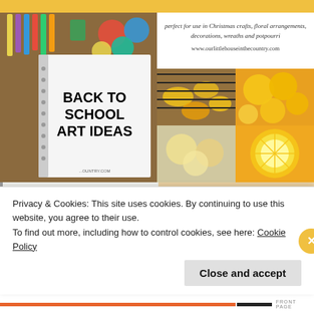[Figure (screenshot): Yellow top navigation bar]
[Figure (photo): Back to School Art Ideas notebook with art supplies background]
[Figure (photo): Dried lemon slices collage with text: perfect for use in Christmas crafts, floral arrangements, decorations, wreaths and potpourri. www.ourlittlehouseinthecountry.com]
[Figure (photo): Tips for Travelling blog post thumbnail]
[Figure (photo): Fun Pre-Writing blog post thumbnail with apple icon and A+ grade]
Privacy & Cookies: This site uses cookies. By continuing to use this website, you agree to their use.
To find out more, including how to control cookies, see here: Cookie Policy
Close and accept